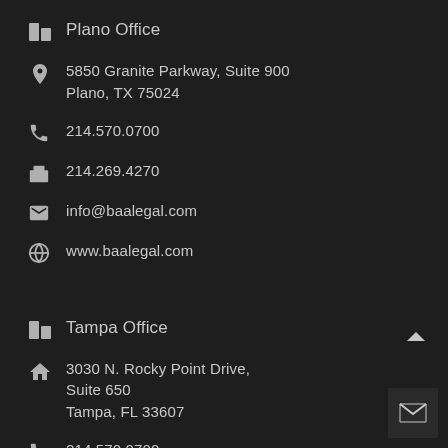Plano Office
5850 Granite Parkway, Suite 900
Plano, TX 75024
214.570.0700
214.269.4270
info@baalegal.com
www.baalegal.com
Tampa Office
3030 N. Rocky Point Drive,
Suite 650
Tampa, FL 33607
214.570.0700
214.269.4270
info@baalegal.com